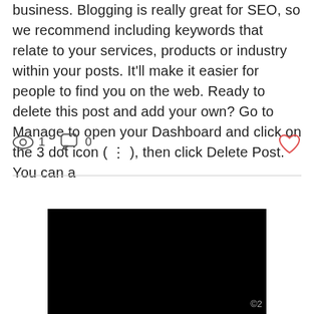business. Blogging is really great for SEO, so we recommend including keywords that relate to your services, products or industry within your posts. It'll make it easier for people to find you on the web. Ready to delete this post and add your own? Go to Manage to open your Dashboard and click on the 3 dot icon ( ⋮ ), then click Delete Post. You can a
[Figure (screenshot): Blog post interaction row showing eye/views icon with count 1, comment bubble icon with count 0, and a heart/like icon on the right. Below is a horizontal divider line. Below that is a black rectangular image area with a partial copyright notice '©2' in the bottom right corner.]